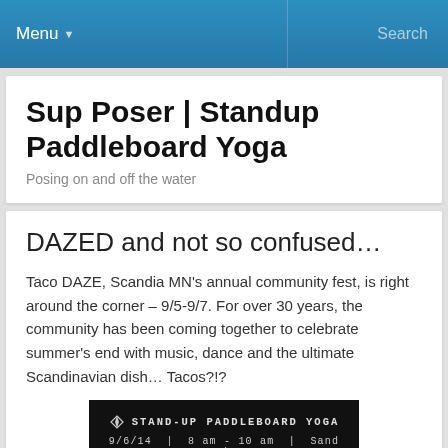Menu  Search
Sup Poser | Standup Paddleboard Yoga
Posing on and off the water
DAZED and not so confused…
Taco DAZE, Scandia MN's annual community fest, is right around the corner – 9/5-9/7.  For over 30 years, the community has been coming together to celebrate summer's end with music, dance and the ultimate Scandinavian dish… Tacos?!?
[Figure (photo): Dark banner image with text: STAND-UP PADDLEBOARD YOGA and 9/6/14 | 8 am - 10 am | Sand Lake, on a black background with a sandy/tan background below]